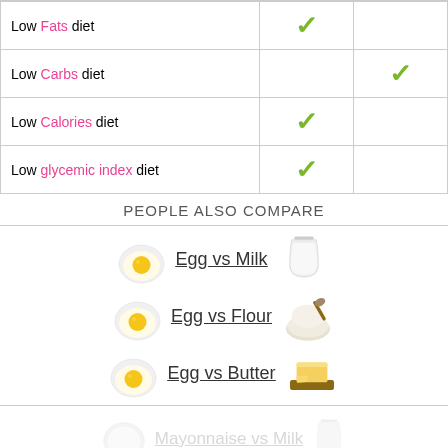| Diet | Col1 | Col2 |
| --- | --- | --- |
| Low Fats diet | ✓ |  |
| Low Carbs diet |  | ✓ |
| Low Calories diet | ✓ |  |
| Low glycemic index diet | ✓ |  |
PEOPLE ALSO COMPARE
Egg vs Milk
Egg vs Flour
Egg vs Butter
Mayonnaise vs Milk